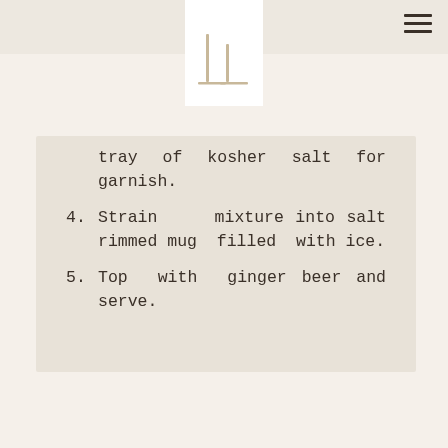[Figure (logo): Minimalist logo showing two vertical bars with a horizontal baseline, centered in a white rectangle overlapping the header]
tray of kosher salt for garnish.
4. Strain mixture into salt rimmed mug filled with ice.
5. Top with ginger beer and serve.